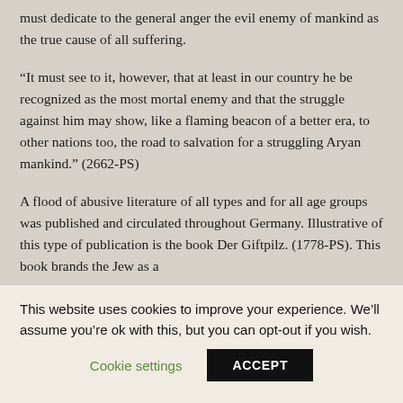must dedicate to the general anger the evil enemy of mankind as the true cause of all suffering.
“It must see to it, however, that at least in our country he be recognized as the most mortal enemy and that the struggle against him may show, like a flaming beacon of a better era, to other nations too, the road to salvation for a struggling Aryan mankind.” (2662-PS)
A flood of abusive literature of all types and for all age groups was published and circulated throughout Germany. Illustrative of this type of publication is the book Der Giftpilz. (1778-PS). This book brands the Jew as a
This website uses cookies to improve your experience. We’ll assume you’re ok with this, but you can opt-out if you wish.
Cookie settings
ACCEPT